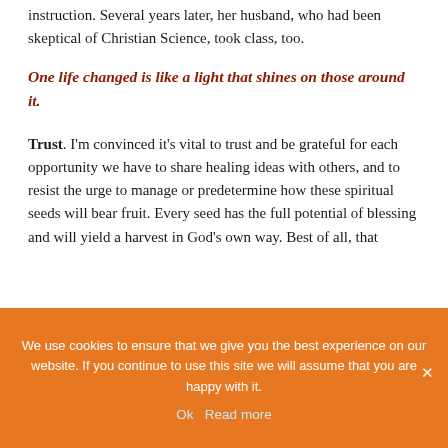instruction. Several years later, her husband, who had been skeptical of Christian Science, took class, too.
One life changed is like a light that shines on those around it.
Trust. I'm convinced it's vital to trust and be grateful for each opportunity we have to share healing ideas with others, and to resist the urge to manage or predetermine how these spiritual seeds will bear fruit. Every seed has the full potential of blessing and will yield a harvest in God's own way. Best of all, that
We use cookies to ensure that we give you the best experience on our website. If you continue to use this site we will assume that you are happy with it.
Ok   Read more